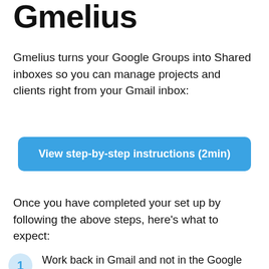Gmelius
Gmelius turns your Google Groups into Shared inboxes so you can manage projects and clients right from your Gmail inbox:
[Figure (other): Blue button with white bold text: View step-by-step instructions (2min)]
Once you have completed your set up by following the above steps, here's what to expect:
Work back in Gmail and not in the Google Groups interface. A shared inbox runs in your inbox and you can manage every group conversation easily with a ticketing-style system.
Assign emails in 1-click. You can assign emails to your teammates in 1 click. More on email